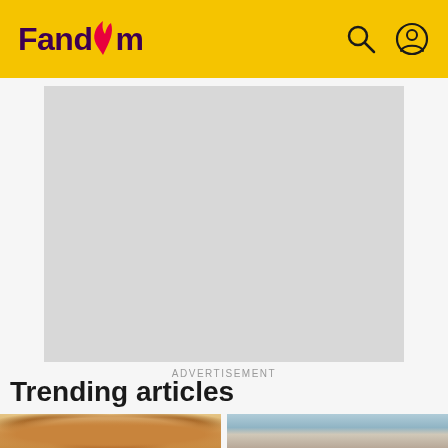Fandom
[Figure (other): Advertisement placeholder - grey rectangle]
ADVERTISEMENT
Trending articles
[Figure (photo): Close-up photo of a dog's face with blue eyes looking up]
[Figure (photo): Photo of a person near railings with blue sky background]